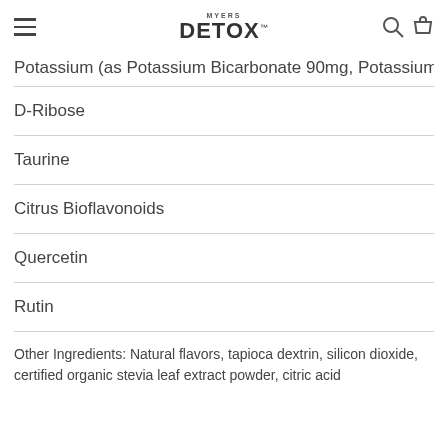MYERS DETOX
Potassium (as Potassium Bicarbonate 90mg, Potassium Asp
D-Ribose
Taurine
Citrus Bioflavonoids
Quercetin
Rutin
Other Ingredients: Natural flavors, tapioca dextrin, silicon dioxide, certified organic stevia leaf extract powder, citric acid